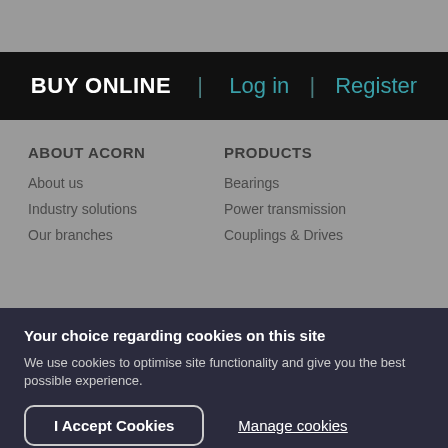BUY ONLINE | Log in | Register
ABOUT ACORN
About us
Industry solutions
Our branches
PRODUCTS
Bearings
Power transmission
Couplings & Drives
Your choice regarding cookies on this site
We use cookies to optimise site functionality and give you the best possible experience.
I Accept Cookies
Manage cookies